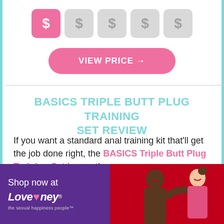[Figure (infographic): Price rating icons: one active pink dollar sign icon and four inactive gray dollar sign icons in rounded square boxes]
VIEW PRICE →
BASICS TRIPLE BUTT PLUG TRAINING SET REVIEW
If you want a standard anal training kit that'll get the job done right, the BASICS Triple Butt Plug Training Set is exactly
[Figure (advertisement): Lovehoney advertisement banner with purple left panel showing 'Shop now at Lovehoney - the sexual happiness people' text and logo, and red right panel with couple photo]